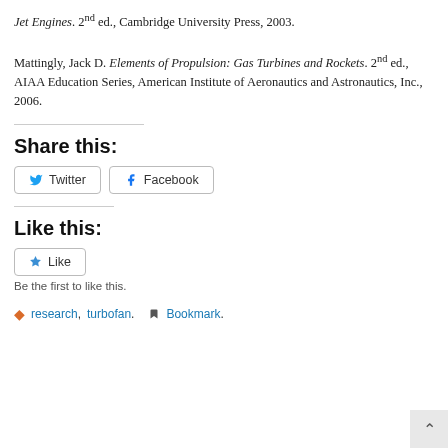Jet Engines. 2nd ed., Cambridge University Press, 2003.
Mattingly, Jack D. Elements of Propulsion: Gas Turbines and Rockets. 2nd ed., AIAA Education Series, American Institute of Aeronautics and Astronautics, Inc., 2006.
Share this:
Twitter  Facebook
Like this:
Like  Be the first to like this.
research, turbofan.  Bookmark.